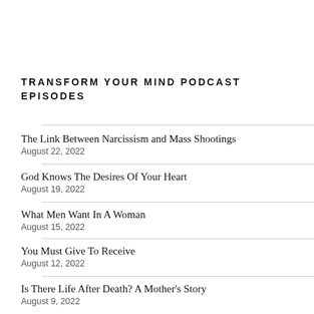TRANSFORM YOUR MIND PODCAST EPISODES
The Link Between Narcissism and Mass Shootings
August 22, 2022
God Knows The Desires Of Your Heart
August 19, 2022
What Men Want In A Woman
August 15, 2022
You Must Give To Receive
August 12, 2022
Is There Life After Death? A Mother's Story
August 9, 2022